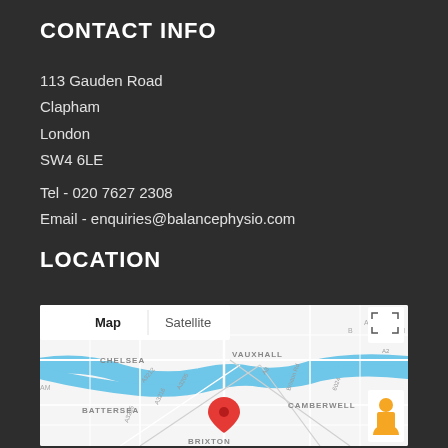CONTACT INFO
113 Gauden Road
Clapham
London
SW4 6LE
Tel - 020 7627 2308
Email - enquiries@balancephysio.com
LOCATION
[Figure (map): Google Map showing the location of 113 Gauden Road, Clapham, London SW4 6LE. The map displays areas including Chelsea, Battersea, Vauxhall, Camberwell, and Brixton. A red map pin marks the location. Map and Satellite toggle buttons are visible at the top left.]